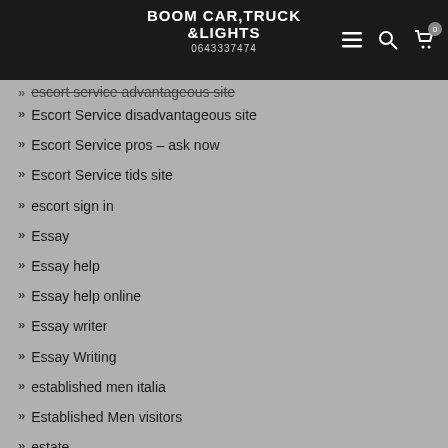BOOM CAR,TRUCK &LIGHTS
0643337474
escort service advantageous site
Escort Service disadvantageous site
Escort Service pros – ask now
Escort Service tids site
escort sign in
Essay
Essay help
Essay help online
Essay writer
Essay Writing
established men italia
Established Men visitors
estate
estonian-chat-rooms dating
estonian-chat-rooms review